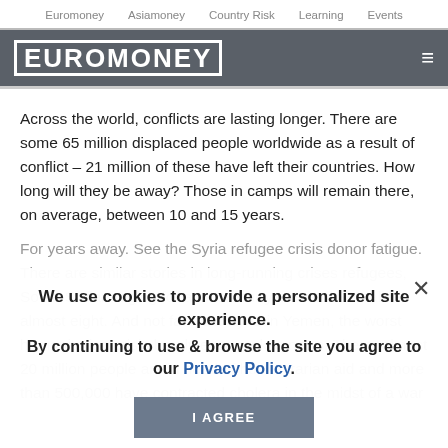Euromoney   Asiamoney   Country Risk   Learning   Events
EUROMONEY
Across the world, conflicts are lasting longer. There are some 65 million displaced people worldwide as a result of conflict – 21 million of these have left their countries. How long will they be away? Those in camps will remain there, on average, between 10 and 15 years.
For years away. See the Syria refugee crisis donor fatigue. There are similar stories in long-running crises refugees, South Sudan raging for almost four years and Somalia's almost eight. And not far from Syria in Yemen, the worst humanitarian crisis barely even makes news. There, almost 20 million people are in need of humanitarian aid and more than 500,000 have contracted cholera in the midst of a war
We use cookies to provide a personalized site experience.
By continuing to use & browse the site you agree to our Privacy Policy.